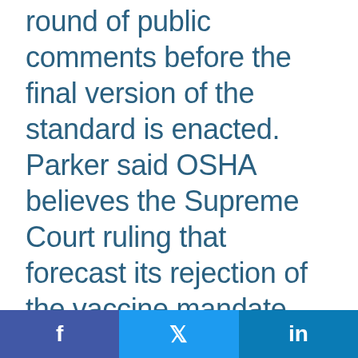round of public comments before the final version of the standard is enacted. Parker said OSHA believes the Supreme Court ruling that forecast its rejection of the vaccine mandate later withdrawn by the agency still allows it to continue protecting workers from on-
[Figure (infographic): Social sharing bar with Facebook, Twitter, and LinkedIn buttons]